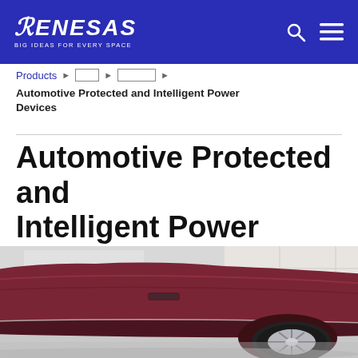RENESAS — BIG IDEAS FOR EVERY SPACE
Products ▶ □□□□ ▶ □□□□□□ ▶ Automotive Protected and Intelligent Power Devices
Automotive Protected and Intelligent Power Devices
[Figure (photo): Close-up photo of the lower side of a burgundy/dark red car showing the door panel, side skirt, and right rear wheel with chrome rim, photographed in what appears to be a showroom or garage with light grey floor]